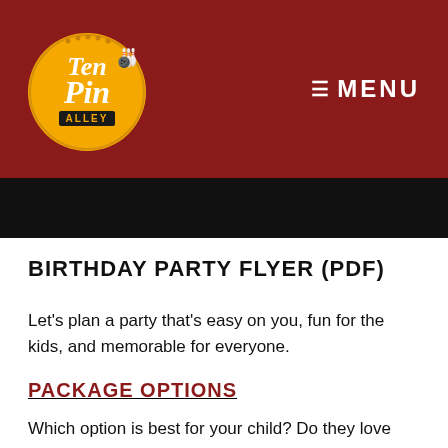Ten Pin Alley | MENU
BIRTHDAY PARTY FLYER (PDF)
Let's plan a party that's easy on you, fun for the kids, and memorable for everyone.
PACKAGE OPTIONS
Which option is best for your child? Do they love bowling? Laser tag? Both? Don't worry, we've got you covered. Each